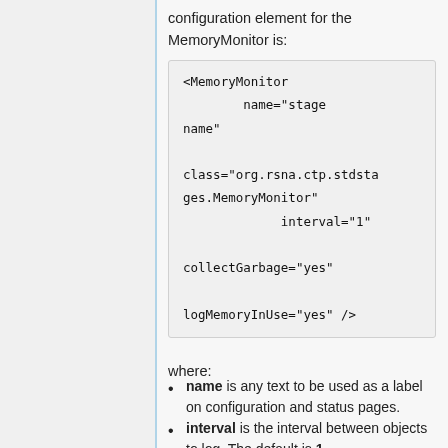configuration element for the MemoryMonitor is:
<MemoryMonitor
                name="stage name"

            class="org.rsna.ctp.stdstages.MemoryMonitor"
                        interval="1"

            collectGarbage="yes"

            logMemoryInUse="yes" />
where:
name is any text to be used as a label on configuration and status pages.
interval is the interval between objects to log. The default is 1.